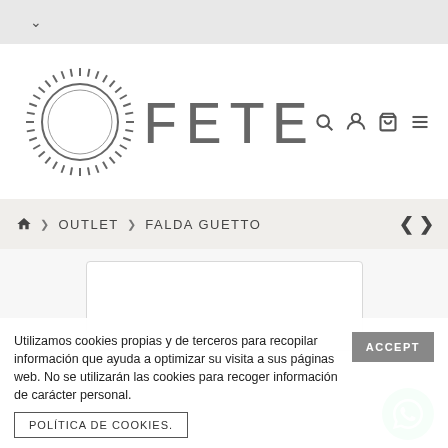▾
[Figure (logo): FETE brand logo with circular sun/radiant design and stylized FETE text in grey]
🔍 👤 🛍 ≡
🏠 > OUTLET > FALDA GUETTO
[Figure (screenshot): Product image placeholder - empty white rectangle with rounded corners]
Utilizamos cookies propias y de terceros para recopilar información que ayuda a optimizar su visita a sus páginas web. No se utilizarán las cookies para recoger información de carácter personal.
ACCEPT
POLÍTICA DE COOKIES.